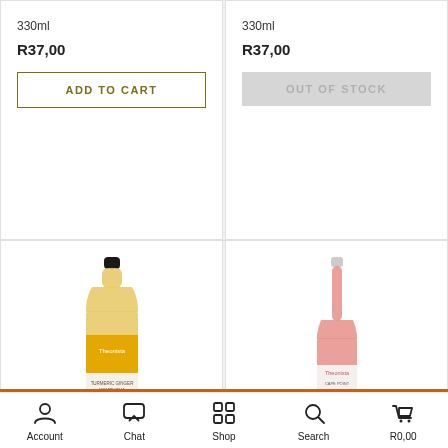330ml
R37,00
ADD TO CART
330ml
R37,00
OUT OF STOCK
[Figure (photo): Bottle of Theonista Turmeric Ginger kombucha, yellow label, plastic bottle]
Theonista
Turmeric Ginger &
[Figure (photo): Bottle of Theonista Botanical Cape Point kombucha, pink/rose colored glass bottle with white label]
Theonista
Botanical Cape Point
Account  Chat  Shop  Search  R0,00